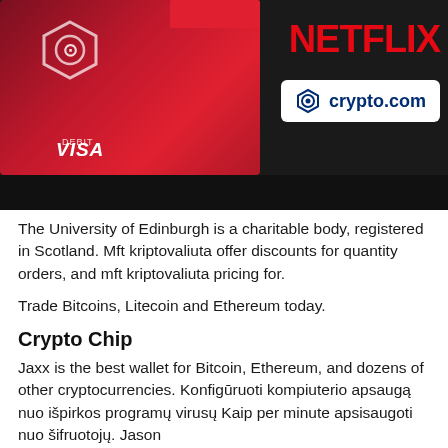[Figure (photo): A dark photo showing a hand holding a dark red Crypto.com Visa card, with Netflix logo in red text and a crypto.com logo in a white box on the right side.]
The University of Edinburgh is a charitable body, registered in Scotland. Mft kriptovaliuta offer discounts for quantity orders, and mft kriptovaliuta pricing for.
Trade Bitcoins, Litecoin and Ethereum today.
Crypto Chip
Jaxx is the best wallet for Bitcoin, Ethereum, and dozens of other cryptocurrencies. Konfigūruoti kompiuterio apsaugą nuo išpirkos programų virusų Kaip per minute apsisaugoti nuo šifruotojų. Jason